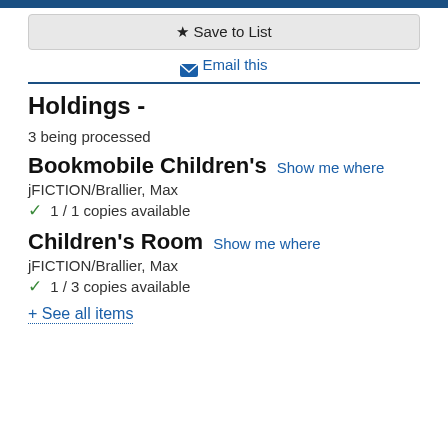★ Save to List
✉ Email this
Holdings -
3 being processed
Bookmobile Children's  Show me where
jFICTION/Brallier, Max
✓ 1 / 1 copies available
Children's Room  Show me where
jFICTION/Brallier, Max
✓ 1 / 3 copies available
+ See all items